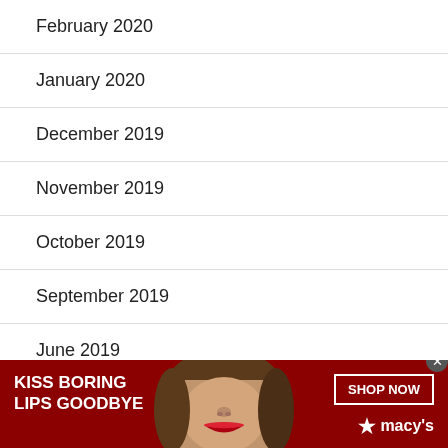February 2020
January 2020
December 2019
November 2019
October 2019
September 2019
June 2019
[Figure (photo): Advertisement banner: Macy's 'Kiss Boring Lips Goodbye' ad showing a woman with red lips, dark red background, SHOP NOW button and Macy's logo]